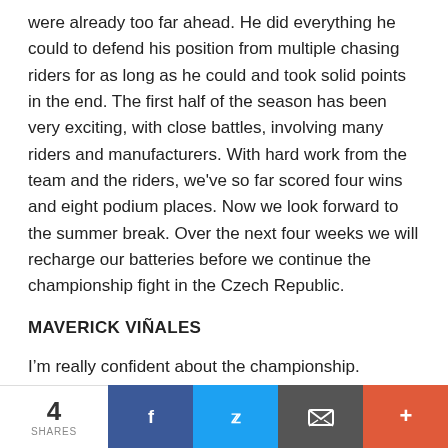were already too far ahead. He did everything he could to defend his position from multiple chasing riders for as long as he could and took solid points in the end. The first half of the season has been very exciting, with close battles, involving many riders and manufacturers. With hard work from the team and the riders, we've so far scored four wins and eight podium places. Now we look forward to the summer break. Over the next four weeks we will recharge our batteries before we continue the championship fight in the Czech Republic.
MAVERICK VIÑALES
I'm really confident about the championship. Starting from eleventh and in the end arriving in P4 losing a lot of time overtaking riders, I was still quite close to Dani, so